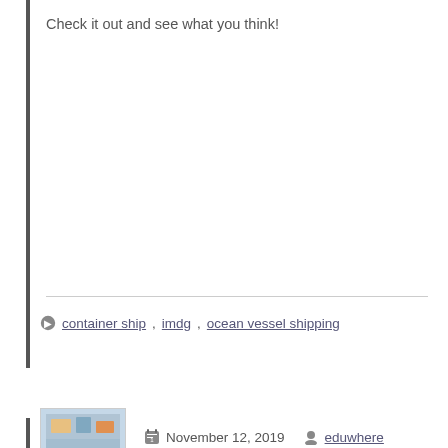Check it out and see what you think!
container ship, imdg, ocean vessel shipping
November 12, 2019  eduwhere